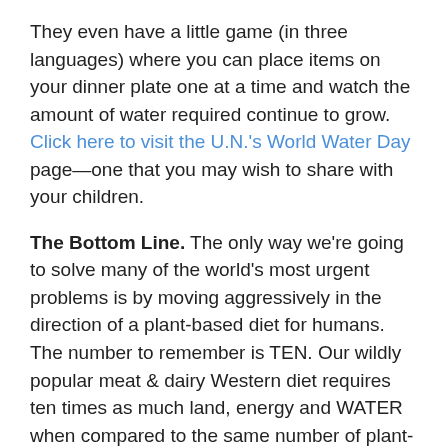They even have a little game (in three languages) where you can place items on your dinner plate one at a time and watch the amount of water required continue to grow. Click here to visit the U.N.'s World Water Day page—one that you may wish to share with your children.
The Bottom Line. The only way we're going to solve many of the world's most urgent problems is by moving aggressively in the direction of a plant-based diet for humans. The number to remember is TEN. Our wildly popular meat & dairy Western diet requires ten times as much land, energy and WATER when compared to the same number of plant-based calories. And, as a bonus for saving all those natural resources, we get to avoid heart disease, obesity, type 2 diabetes, cancer and a host of other health maladies.